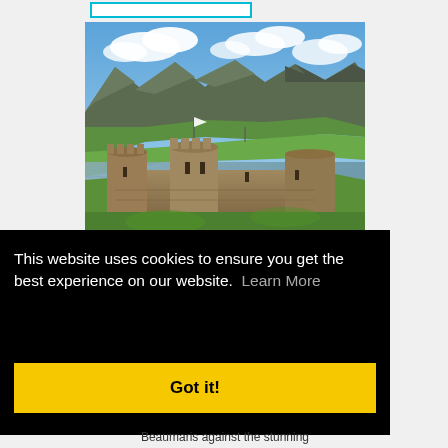[Figure (photo): Beaumaris Castle with mountains and water in the background, green hills, blue sky with clouds]
This website uses cookies to ensure you get the best experience on our website.  Learn More
Got it!
Beaumaris against the stunning